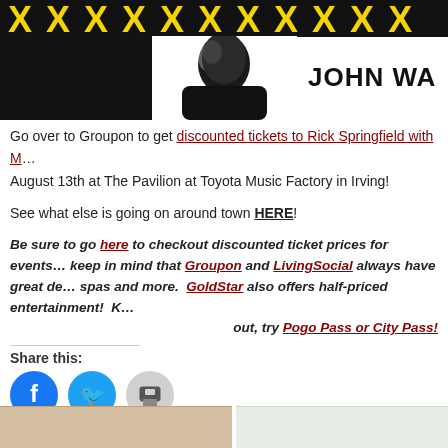[Figure (photo): Banner image showing a black background with yellow X pattern at top, a black-and-white photo of a man, and bold text 'JOHN WA...' on white area]
Go over to Groupon to get discounted tickets to Rick Springfield with M... August 13th at The Pavilion at Toyota Music Factory in Irving!
See what else is going on around town HERE!
Be sure to go here to checkout discounted ticket prices for events... keep in mind that Groupon and LivingSocial always have great de... spas and more. GoldStar also offers half-priced entertainment! K... out, try Pogo Pass or City Pass!
Share this:
[Figure (illustration): Social share buttons: Facebook (blue circle), Twitter (blue circle), Print (gray circle)]
[Figure (other): Bottom strip with two content blocks]